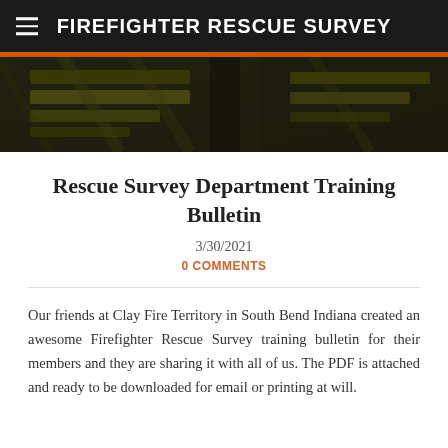FIREFIGHTER RESCUE SURVEY
[Figure (photo): Dark background photo of firefighter gear/jacket with yellow and dark pattern]
Rescue Survey Department Training Bulletin
3/30/2021
0 COMMENTS
Our friends at Clay Fire Territory in South Bend Indiana created an awesome Firefighter Rescue Survey training bulletin for their members and they are sharing it with all of us. The PDF is attached and ready to be downloaded for email or printing at will.